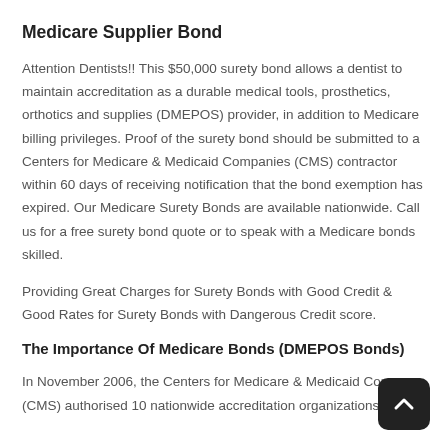Medicare Supplier Bond
Attention Dentists!! This $50,000 surety bond allows a dentist to maintain accreditation as a durable medical tools, prosthetics, orthotics and supplies (DMEPOS) provider, in addition to Medicare billing privileges. Proof of the surety bond should be submitted to a Centers for Medicare & Medicaid Companies (CMS) contractor within 60 days of receiving notification that the bond exemption has expired. Our Medicare Surety Bonds are available nationwide. Call us for a free surety bond quote or to speak with a Medicare bonds skilled.
Providing Great Charges for Surety Bonds with Good Credit & Good Rates for Surety Bonds with Dangerous Credit score.
The Importance Of Medicare Bonds (DMEPOS Bonds)
In November 2006, the Centers for Medicare & Medicaid Companies (CMS) authorised 10 nationwide accreditation organizations th…